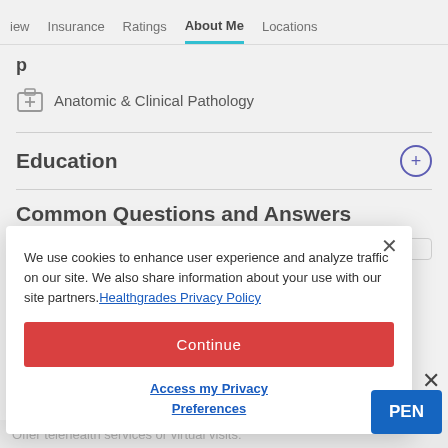iew   Insurance   Ratings   About Me   Locations
Anatomic & Clinical Pathology
Education
Common Questions and Answers
We use cookies to enhance user experience and analyze traffic on our site. We also share information about your use with our site partners. Healthgrades Privacy Policy
Continue
Access my Privacy Preferences
Offer telehealth services or virtual visits: